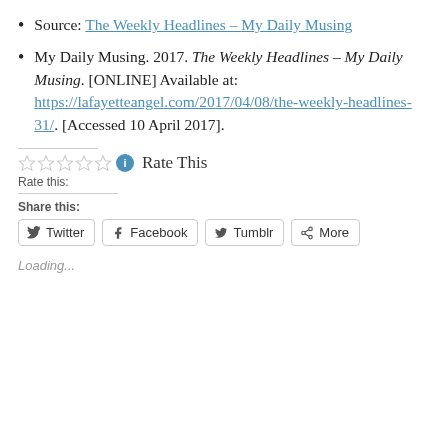Source: The Weekly Headlines – My Daily Musing
My Daily Musing. 2017. The Weekly Headlines – My Daily Musing. [ONLINE] Available at: https://lafayetteangel.com/2017/04/08/the-weekly-headlines-31/. [Accessed 10 April 2017].
Rate This
Rate this:
Share this:
Twitter  Facebook  Tumblr  More
Loading...